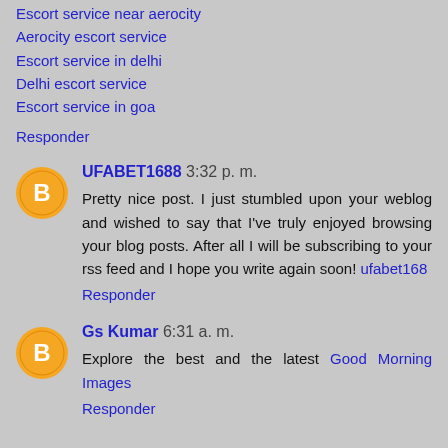Escort service near aerocity
Aerocity escort service
Escort service in delhi
Delhi escort service
Escort service in goa
Responder
UFABET1688  3:32 p. m.
Pretty nice post. I just stumbled upon your weblog and wished to say that I've truly enjoyed browsing your blog posts. After all I will be subscribing to your rss feed and I hope you write again soon! ufabet168
Responder
Gs Kumar  6:31 a. m.
Explore the best and the latest Good Morning Images
Responder